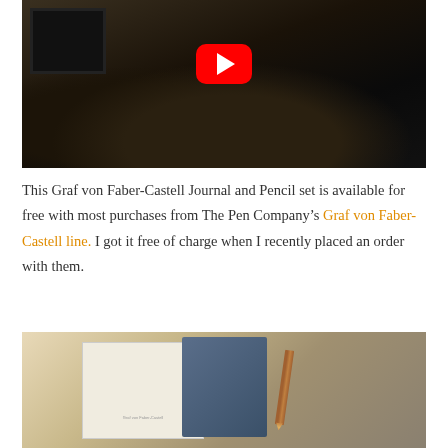[Figure (screenshot): YouTube video thumbnail showing hands holding a pencil or pen against a dark background, with a red YouTube play button overlay in the upper-center area.]
This Graf von Faber-Castell Journal and Pencil set is available for free with most purchases from The Pen Company’s Graf von Faber-Castell line. I got it free of charge when I recently placed an order with them.
[Figure (photo): Photo of a Graf von Faber-Castell journal and pencil set showing a white box, a blue hardcover journal, and a brown pencil arranged together on a light background.]